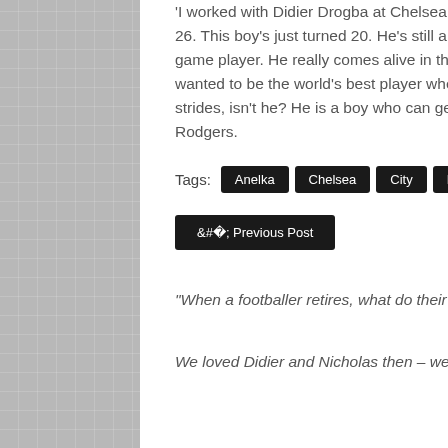'I worked with Didier Drogba at Chelsea and I think Moussa's of that ilk. Didier came into Chelsea at 26. This boy's just turned 20. He's still a baby but he's tough. What I see in Moussa is that he's a big-game player. He really comes alive in the big games such as Wednesday's.He has a belief. He said he wanted to be the world's best player when he came here and we shall see, but he is making nice strides, isn't he? He is a boy who can get to the top but there are some things to work upon yet," said Rodgers.
Tags: Anelka | Chelsea | City | Didier | Drogba
< Previous Post    Next Post >
“When a footballer retires, what do their fans do? Are we also supposed to retire?
We loved Didier and Nicholas then – we still love Didier and Nicholas now!”